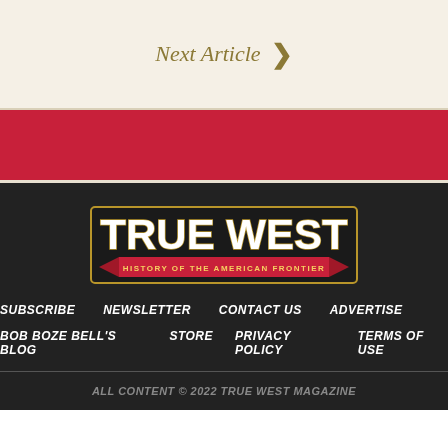Next Article ›
[Figure (logo): True West Magazine logo - History of the American Frontier, white bold text with red banner ribbon on dark background]
SUBSCRIBE   NEWSLETTER   CONTACT US   ADVERTISE   BOB BOZE BELL'S BLOG   STORE   PRIVACY POLICY   TERMS OF USE
ALL CONTENT © 2022 TRUE WEST MAGAZINE